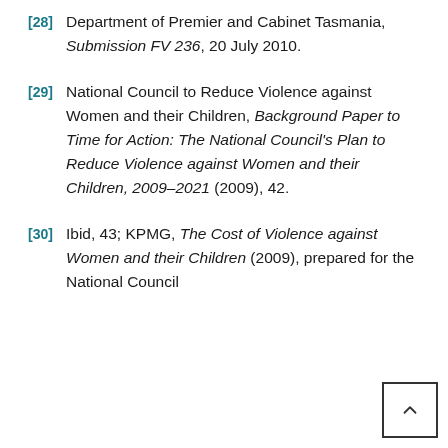[28] Department of Premier and Cabinet Tasmania, Submission FV 236, 20 July 2010.
[29] National Council to Reduce Violence against Women and their Children, Background Paper to Time for Action: The National Council's Plan to Reduce Violence against Women and their Children, 2009–2021 (2009), 42.
[30] Ibid, 43; KPMG, The Cost of Violence against Women and their Children (2009), prepared for the National Council